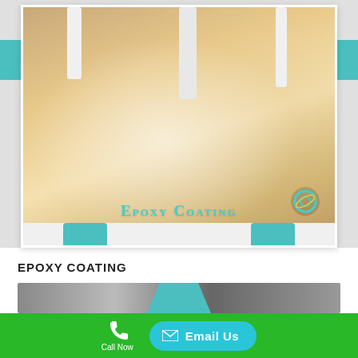[Figure (photo): Photo of shiny epoxy-coated floor with white pillars, framed with white border and teal accent tabs. Text overlay reads EPOXY COATING in teal.]
EPOXY COATING
Epoxy flooring can add a glass-like finish to your flooring. This method of flooring produces a beautiful shine on top of any smooth surface.
READ MORE
[Figure (photo): Partial view of a second service photo below, partially cropped]
Call Now   Email Us